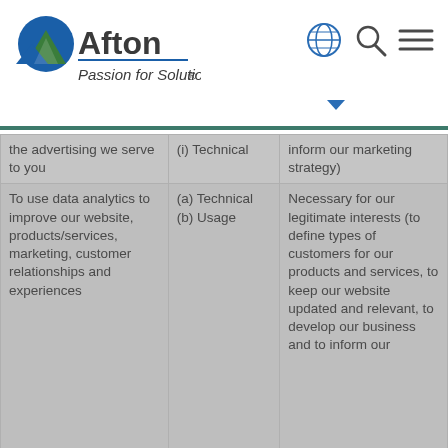Afton — Passion for Solutions
| Purpose/Activity | Type of data | Lawful basis for processing |
| --- | --- | --- |
| the advertising we serve to you | (i) Technical | inform our marketing strategy) |
| To use data analytics to improve our website, products/services, marketing, customer relationships and experiences | (a) Technical
(b) Usage | Necessary for our legitimate interests (to define types of customers for our products and services, to keep our website updated and relevant, to develop our business and to inform our |